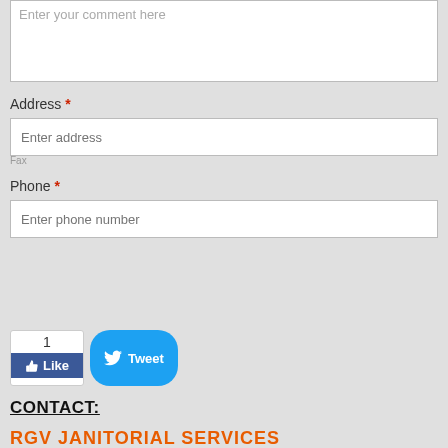Enter your comment here
Address *
Enter address
Phone *
Enter phone number
Submit
[Figure (screenshot): Facebook Like button showing count of 1 and a Twitter Tweet button]
CONTACT:
RGV JANITORIAL SERVICES